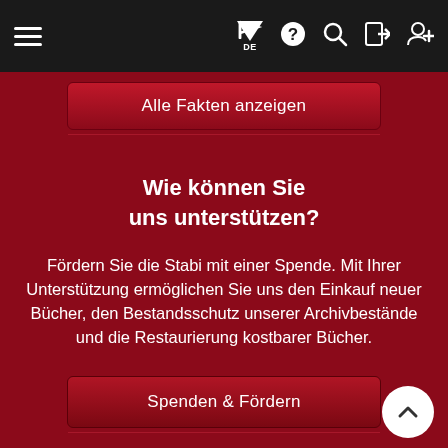[Figure (screenshot): Mobile navigation bar with hamburger menu icon on left and icons (flag/DE, question mark, search, login, add user) on right, dark background]
Alle Fakten anzeigen
Wie können Sie uns unterstützen?
Fördern Sie die Stabi mit einer Spende. Mit Ihrer Unterstützung ermöglichen Sie uns den Einkauf neuer Bücher, den Bestandsschutz unserer Archivbestände und die Restaurierung kostbarer Bücher.
Spenden & Fördern